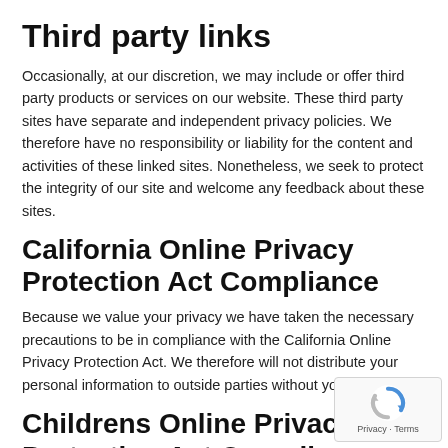Third party links
Occasionally, at our discretion, we may include or offer third party products or services on our website. These third party sites have separate and independent privacy policies. We therefore have no responsibility or liability for the content and activities of these linked sites. Nonetheless, we seek to protect the integrity of our site and welcome any feedback about these sites.
California Online Privacy Protection Act Compliance
Because we value your privacy we have taken the necessary precautions to be in compliance with the California Online Privacy Protection Act. We therefore will not distribute your personal information to outside parties without your consent.
Childrens Online Privacy Protection Act Compliance